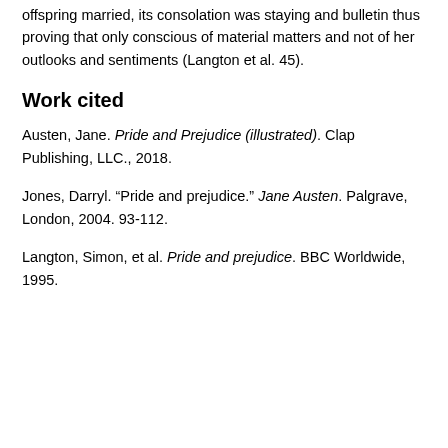offspring married, its consolation was staying and bulletin thus proving that only conscious of material matters and not of her outlooks and sentiments (Langton et al. 45).
Work cited
Austen, Jane. Pride and Prejudice (illustrated). Clap Publishing, LLC., 2018.
Jones, Darryl. “Pride and prejudice.” Jane Austen. Palgrave, London, 2004. 93-112.
Langton, Simon, et al. Pride and prejudice. BBC Worldwide, 1995.